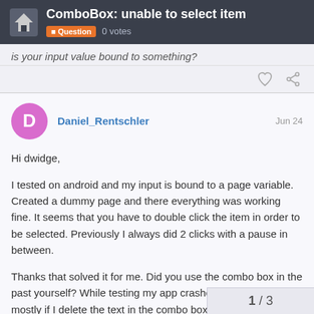ComboBox: unable to select item | Question 0 votes
is your input value bound to something?
Daniel_Rentschler  Jun 24
Hi dwidge,

I tested on android and my input is bound to a page variable. Created a dummy page and there everything was working fine. It seems that you have to double click the item in order to be selected. Previously I always did 2 clicks with a pause in between.

Thanks that solved it for me. Did you use the combo box in the past yourself? While testing my app crashed multiple times mostly if I delete the text in the combo box again
1 / 3